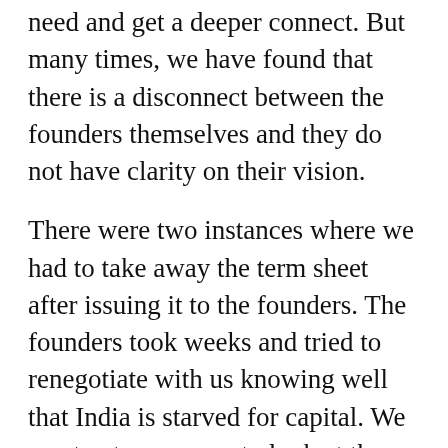need and get a deeper connect. But many times, we have found that there is a disconnect between the founders themselves and they do not have clarity on their vision.
There were two instances where we had to take away the term sheet after issuing it to the founders. The founders took weeks and tried to renegotiate with us knowing well that India is starved for capital. We want entrepreneurs to look at the bigger picture and not get caught in the current moment.
Tell me about your first exit as an investor